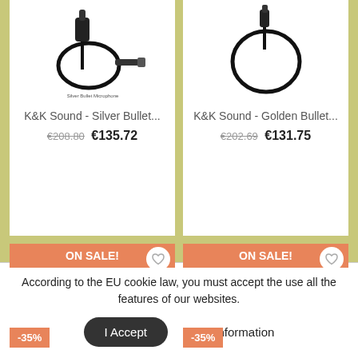[Figure (photo): K&K Sound Silver Bullet microphone product card showing microphone and cable on white background]
K&K Sound - Silver Bullet...
€208.80 €135.72
[Figure (photo): K&K Sound Golden Bullet microphone product card showing microphone and cable on white background]
K&K Sound - Golden Bullet...
€202.69 €131.75
[Figure (photo): ON SALE! -35% product card with orange sale banner and product image]
[Figure (photo): ON SALE! -35% product card with orange sale banner and product image]
According to the EU cookie law, you must accept the use all the features of our websites.
I Accept
More Information